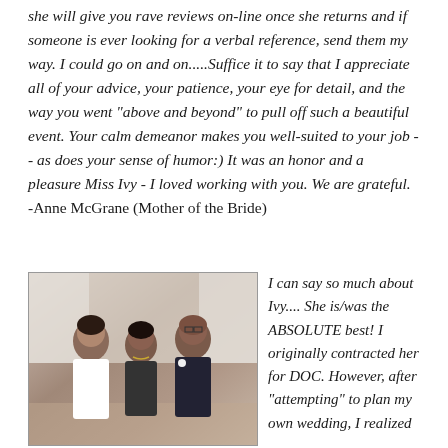she will give you rave reviews on-line once she returns and if someone is ever looking for a verbal reference, send them my way. I could go on and on.....Suffice it to say that I appreciate all of your advice, your patience, your eye for detail, and the way you went "above and beyond" to pull off such a beautiful event. Your calm demeanor makes you well-suited to your job -- as does your sense of humor:) It was an honor and a pleasure Miss Ivy - I loved working with you. We are grateful.
-Anne McGrane (Mother of the Bride)
[Figure (photo): Photo of three people posing together at a wedding event — a bride in white dress, a woman in dark outfit (presumably Ivy), and a man in dark suit with white boutonniere, in a ballroom setting with draped white curtains in the background.]
I can say so much about Ivy.... She is/was the ABSOLUTE best! I originally contracted her for DOC. However, after "attempting" to plan my own wedding, I realized...